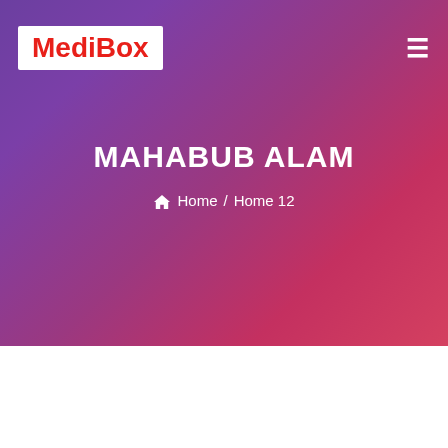[Figure (logo): MediBox logo in red text on white background]
MAHABUB ALAM
Home / Home 12